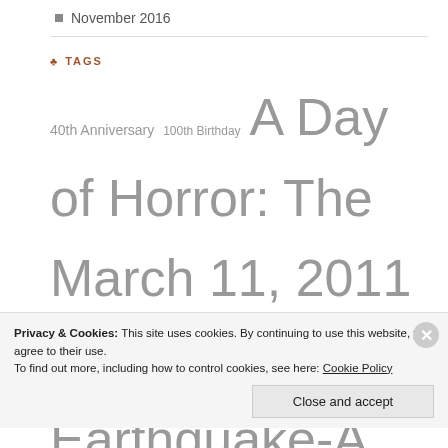November 2016
TAGS
40th Anniversary 100th Birthday A Day of Horror: The March 11, 2011 Japan Earthquake-A Foreigner's Perspective Adrienne Barbeau Amazon Antonio Bay authors Blood book Bradley Lobue California Creepy e-book earthquake Eastern Tohoku Fear Film Florida Fukushima Fukushima Daiichi Nuclear Power Plant Fukushima Prefecture George Lucas Ghosts Ghost Story Gore
Privacy & Cookies: This site uses cookies. By continuing to use this website, you agree to their use. To find out more, including how to control cookies, see here: Cookie Policy
Close and accept